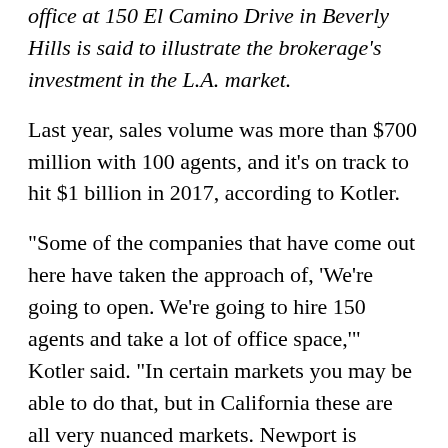office at 150 El Camino Drive in Beverly Hills is said to illustrate the brokerage's investment in the L.A. market.
Last year, sales volume was more than $700 million with 100 agents, and it's on track to hit $1 billion in 2017, according to Kotler.
“Some of the companies that have come out here have taken the approach of, ‘We’re going to open. We’re going to hire 150 agents and take a lot of office space,’” Kotler said. “In certain markets you may be able to do that, but in California these are all very nuanced markets. Newport is different than Manhattan Beach, it’s different than Venice. We’ve been taking a more measured approach to really understanding these markets before opening offices in all of them.”
The biggest bright spot for Elliman is its new-development division, which is gaining traction thanks in part to Lorber’s connections with New York developers building in L.A.